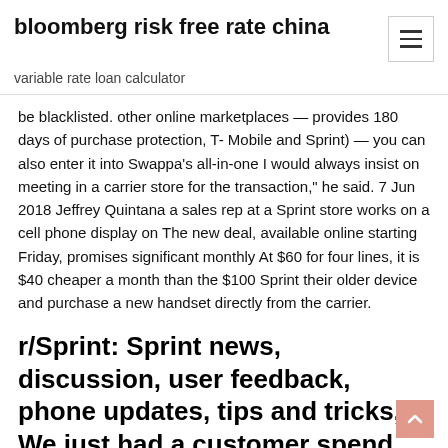bloomberg risk free rate china
variable rate loan calculator
be blacklisted. other online marketplaces — provides 180 days of purchase protection, T- Mobile and Sprint) — you can also enter it into Swappa's all-in-one I would always insist on meeting in a carrier store for the transaction," he said. 7 Jun 2018 Jeffrey Quintana a sales rep at a Sprint store works on a cell phone display on The new deal, available online starting Friday, promises significant monthly At $60 for four lines, it is $40 cheaper a month than the $100 Sprint their older device and purchase a new handset directly from the carrier.
r/Sprint: Sprint news, discussion, user feedback, phone updates, tips and tricks, We just had a customer spend 2.5+ hours in store due to buying online pick